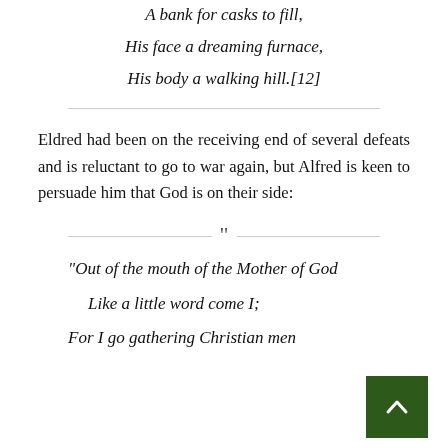A bank for casks to fill,
His face a dreaming furnace,
His body a walking hill.[12]
Eldred had been on the receiving end of several defeats and is reluctant to go to war again, but Alfred is keen to persuade him that God is on their side:
“Out of the mouth of the Mother of God
Like a little word come I;
For I go gathering Christian men